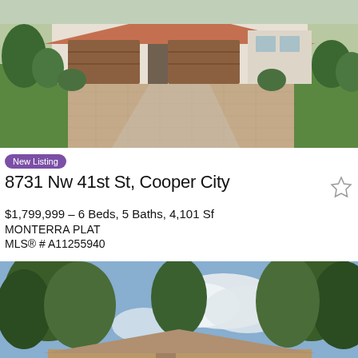[Figure (photo): Exterior photo of a white stucco house with brown garage doors and brick paver driveway, surrounded by green lawn and landscaping]
New Listing
8731 Nw 41st St, Cooper City
$1,799,999 – 6 Beds, 5 Baths, 4,101 Sf
MONTERRA PLAT
MLS® # A11255940
[Figure (photo): Exterior photo of a house viewed from below through tree canopy with blue sky and clouds visible]